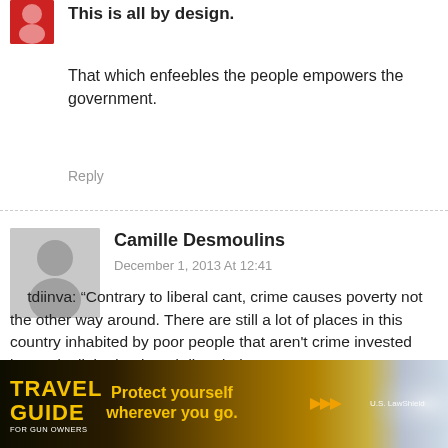This is all by design.
That which enfeebles the people empowers the government.
Reply
Camille Desmoulins
December 1, 2013 At 12:41
tdiinva: “Contrary to liberal cant, crime causes poverty not the other way around. There are still a lot of places in this country inhabited by poor people that aren't crime invested beyond a little drunk and disorderly.”
You’re first sentence is far too monocausal to be entirely correct, and your second sentence
[Figure (photo): Travel Guide for Gun Owners advertisement banner with text: Protect yourself wherever you go.]